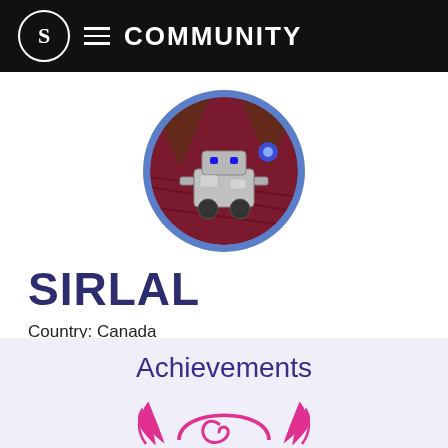S ≡ COMMUNITY
[Figure (photo): Circular profile avatar showing a robot on a dark red/purple background, with blue ring border]
SIRLAL
Country: Canada
Member Since: Jan 2012
Achievements
[Figure (illustration): Partial view of a pink/magenta achievement badge with laurel leaves on either side]